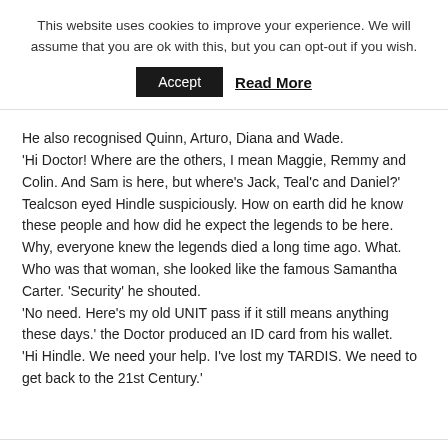This website uses cookies to improve your experience. We will assume that you are ok with this, but you can opt-out if you wish.
Accept  Read More
He also recognised Quinn, Arturo, Diana and Wade. 'Hi Doctor! Where are the others, I mean Maggie, Remmy and Colin. And Sam is here, but where's Jack, Teal'c and Daniel?' Tealcson eyed Hindle suspiciously. How on earth did he know these people and how did he expect the legends to be here. Why, everyone knew the legends died a long time ago. What. Who was that woman, she looked like the famous Samantha Carter. 'Security' he shouted. 'No need. Here's my old UNIT pass if it still means anything these days.' the Doctor produced an ID card from his wallet. 'Hi Hindle. We need your help. I've lost my TARDIS. We need to get back to the 21st Century.'